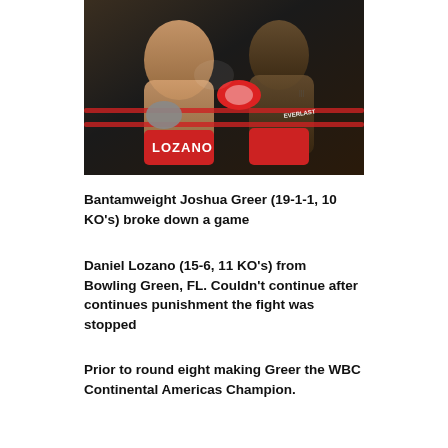[Figure (photo): Two boxers fighting in a boxing ring. The fighter on the left is shirtless and being punched. The fighter on the right is throwing a punch. Red ring ropes are visible. The word LOZANO is visible on boxing shorts, and EVERLAST branding is on the gloves.]
Bantamweight Joshua Greer (19-1-1, 10 KO's) broke down a game
Daniel Lozano (15-6, 11 KO's) from Bowling Green, FL. Couldn't continue after continues punishment the fight was stopped
Prior to round eight making Greer the WBC Continental Americas Champion.